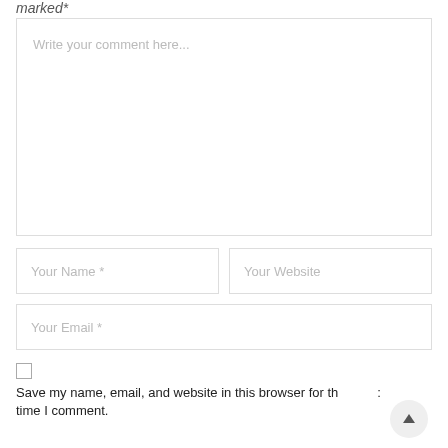marked*
Write your comment here...
Your Name *
Your Website
Your Email *
Save my name, email, and website in this browser for the next time I comment.